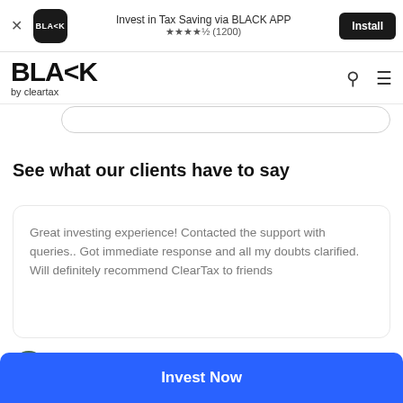[Figure (screenshot): App install banner with BLACK by ClearTax logo, star rating 4.5 (1200), and Install button]
[Figure (logo): BLACK by cleartax logo in top navigation bar with search and menu icons]
See what our clients have to say
Great investing experience! Contacted the support with queries.. Got immediate response and all my doubts clarified. Will definitely recommend ClearTax to friends
NANDITA SAINI
[Figure (illustration): Invest Now CTA button in blue]
Invest Now